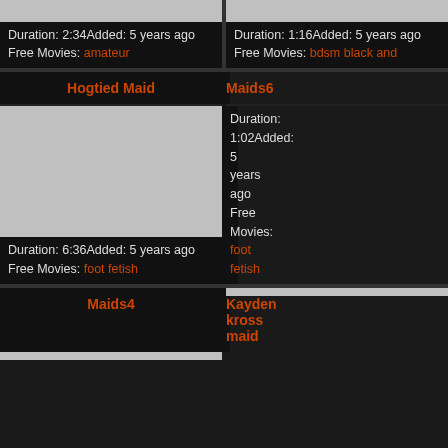Duration: 2:34 Added: 5 years ago
Free Movies: amateur
Duration: 1:16 Added: 5 years ago
Free Movies: bdsm black and
Hogtied Maid
Maids6
[Figure (photo): Video thumbnail placeholder - gray rectangle]
[Figure (photo): Video thumbnail placeholder - gray rectangle]
Duration: 6:36 Added: 5 years ago
Free Movies: foot fetish
Duration: 1:02 Added: 5 years ago
Free Movies: foot fetish
Maids4
Kayden kross maid